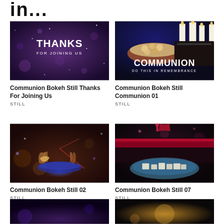in...
[Figure (photo): Dark purple bokeh background with white text 'THANKS FOR JOINING US']
Communion Bokeh Still Thanks For Joining Us
STILL
[Figure (photo): Communion elements - bread and wine with candles, text 'COMMUNION DO THIS IN REMEMBRANCE']
Communion Bokeh Still Communion 01
STILL
[Figure (photo): Hands holding bread with blue/purple bokeh light, communion elements]
Communion Bokeh Still 02
STILL
[Figure (photo): Red wine being poured over communion bread pieces on a plate, bokeh background]
Communion Bokeh Still 07
STILL
[Figure (photo): Dark purple bokeh background, partial image at bottom of page]
[Figure (photo): Dark background with light effect, partial image at bottom of page]